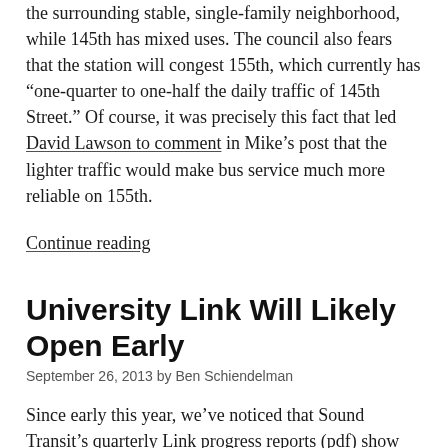the surrounding stable, single-family neighborhood, while 145th has mixed uses. The council also fears that the station will congest 155th, which currently has “one-quarter to one-half the daily traffic of 145th Street.” Of course, it was precisely this fact that led David Lawson to comment in Mike’s post that the lighter traffic would make bus service much more reliable on 155th.
Continue reading
University Link Will Likely Open Early
September 26, 2013 by Ben Schiendelman
Since early this year, we’ve noticed that Sound Transit’s quarterly Link progress reports (pdf) show University Link with a lot of padding in the schedule